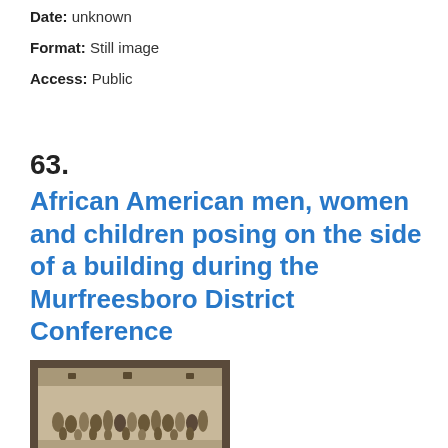Date: unknown
Format: Still image
Access: Public
63.
African American men, women and children posing on the side of a building during the Murfreesboro District Conference
[Figure (photo): Historical black and white photograph of African American men, women and children posing on the side of a building during the Murfreesboro District Conference, mounted on dark card stock]